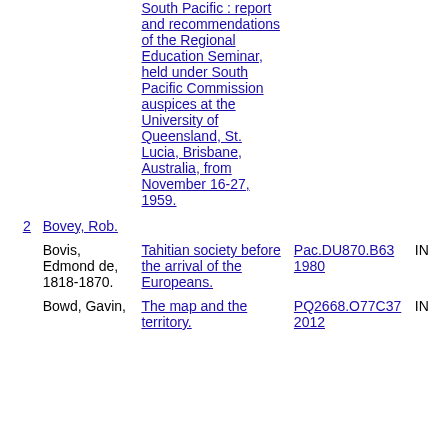| # | Author | Title | Call Number | Status |
| --- | --- | --- | --- | --- |
|  |  | South Pacific : report and recommendations of the Regional Education Seminar, held under South Pacific Commission auspices at the University of Queensland, St. Lucia, Brisbane, Australia, from November 16-27, 1959. |  |  |
| 2 | Bovey, Rob. |  |  |  |
|  | Bovis, Edmond de, 1818-1870. | Tahitian society before the arrival of the Europeans. | Pac.DU870.B63 1980 | IN |
|  | Bowd, Gavin, | The map and the territory. | PQ2668.O77C37 2012 | IN |